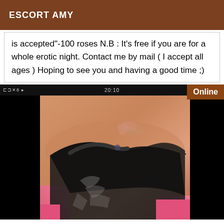ESCORT AMY
is accepted"-100 roses N.B : It's free if you are for a whole erotic night. Contact me by mail ( I accept all ages ) Hoping to see you and having a good time ;)
[Figure (photo): A photo displayed on a smartphone screen showing a person's torso with dark lace underwear and a tattoo visible on the hip/thigh area. The image has black bars on the sides indicating it is viewed on a phone screen. An 'Online' badge appears in the top right corner of the screen.]